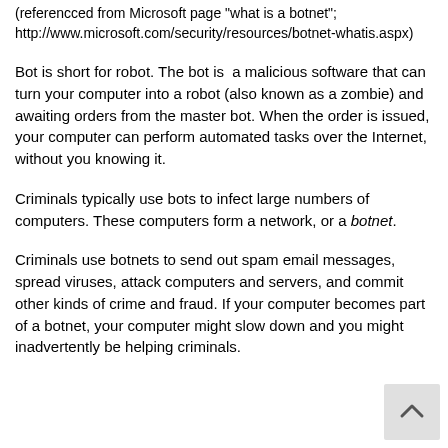(referencced from Microsoft page "what is a botnet"; http://www.microsoft.com/security/resources/botnet-whatis.aspx)
Bot is short for robot. The bot is  a malicious software that can turn your computer into a robot (also known as a zombie) and awaiting orders from the master bot. When the order is issued, your computer can perform automated tasks over the Internet, without you knowing it.
Criminals typically use bots to infect large numbers of computers. These computers form a network, or a botnet.
Criminals use botnets to send out spam email messages, spread viruses, attack computers and servers, and commit other kinds of crime and fraud. If your computer becomes part of a botnet, your computer might slow down and you might inadvertently be helping criminals.